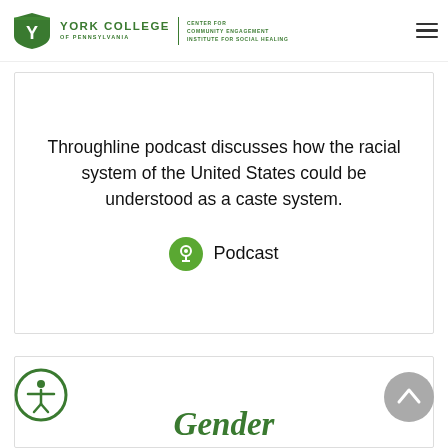York College of Pennsylvania | Center for Community Engagement | Institute for Social Healing
Throughline podcast discusses how the racial system of the United States could be understood as a caste system.
Podcast
Gender